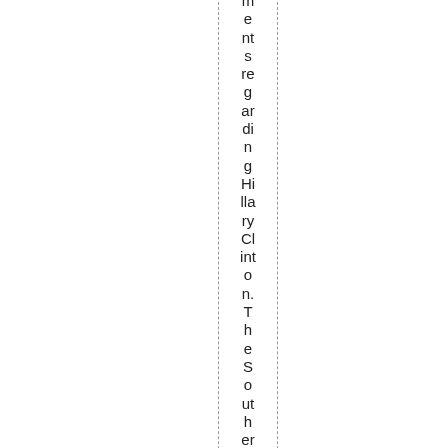ments regarding Hillary Clinton. The Southern Poverty